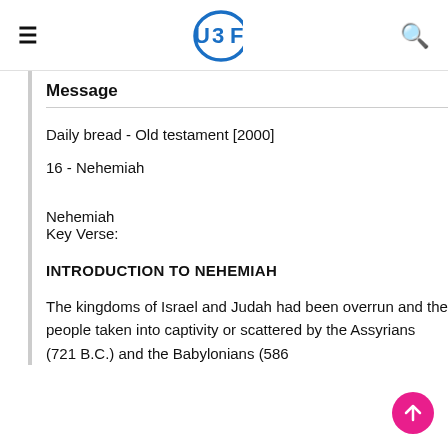UBF
Message
Daily bread - Old testament [2000]
16 - Nehemiah
Nehemiah
Key Verse:
INTRODUCTION TO NEHEMIAH
The kingdoms of Israel and Judah had been overrun and the people taken into captivity or scattered by the Assyrians (721 B.C.) and the Babylonians (586...